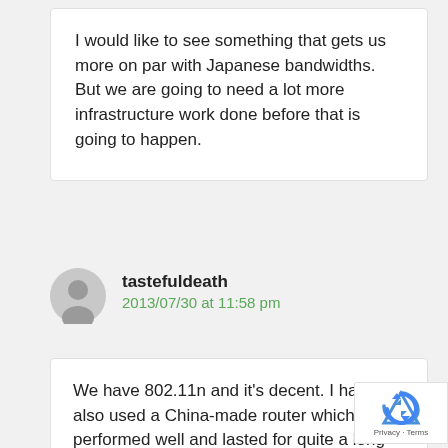I would like to see something that gets us more on par with Japanese bandwidths. But we are going to need a lot more infrastructure work done before that is going to happen.
tastefuldeath
2013/07/30 at 11:58 pm
We have 802.11n and it's decent. I have also used a China-made router which performed well and lasted for quite a long time. People with money can probably buy